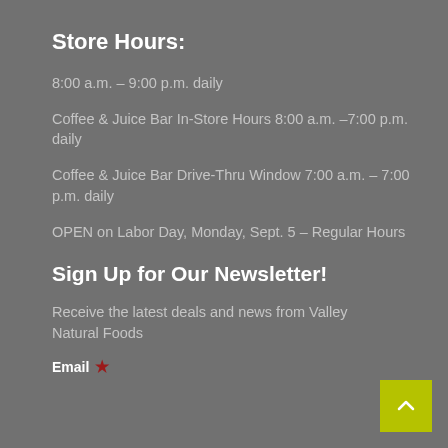Store Hours:
8:00 a.m. – 9:00 p.m. daily
Coffee & Juice Bar In-Store Hours 8:00 a.m. –7:00 p.m. daily
Coffee & Juice Bar Drive-Thru Window 7:00 a.m. – 7:00 p.m. daily
OPEN on Labor Day, Monday, Sept. 5 – Regular Hours
Sign Up for Our Newsletter!
Receive the latest deals and news from Valley Natural Foods
Email *